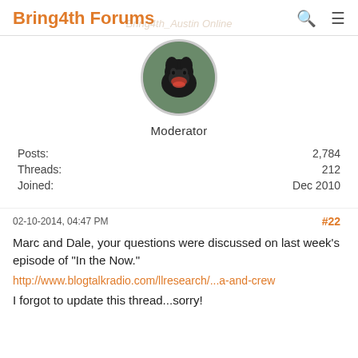Bring4th Forums
[Figure (photo): Circular avatar photo of a black dog with mouth open, set against a green background]
Moderator
| Posts: | 2,784 |
| Threads: | 212 |
| Joined: | Dec 2010 |
02-10-2014, 04:47 PM  #22
Marc and Dale, your questions were discussed on last week's episode of "In the Now."
http://www.blogtalkradio.com/llresearch/...a-and-crew
I forgot to update this thread...sorry!